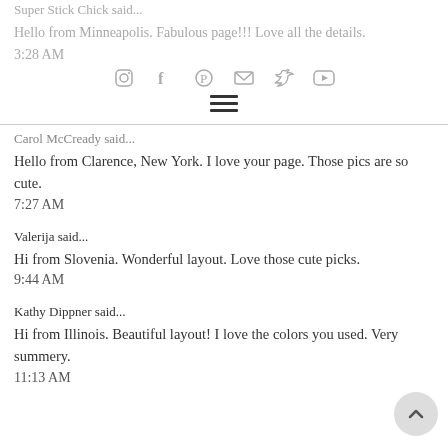Super Stick Chick said...
Hello from Minneapolis. Fabulous page!!! Love all the details.
3:28 AM
[Figure (infographic): Social media icons row: Instagram, Facebook, Pinterest, Email, Twitter, YouTube]
Carol McCready said...
Hello from Clarence, New York. I love your page. Those pics are so cute.
7:27 AM
Valerija said...
Hi from Slovenia. Wonderful layout. Love those cute picks.
9:44 AM
Kathy Dippner said...
Hi from Illinois. Beautiful layout! I love the colors you used. Very summery.
11:13 AM